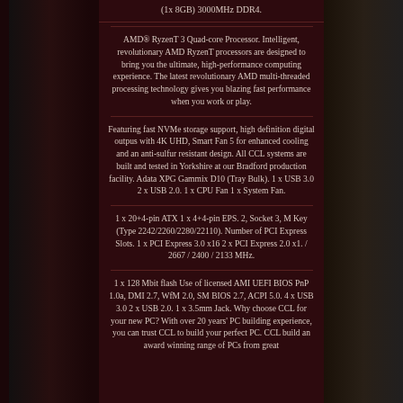(1x 8GB) 3000MHz DDR4.
AMD® RyzenT 3 Quad-core Processor. Intelligent, revolutionary AMD RyzenT processors are designed to bring you the ultimate, high-performance computing experience. The latest revolutionary AMD multi-threaded processing technology gives you blazing fast performance when you work or play.
Featuring fast NVMe storage support, high definition digital outpus with 4K UHD, Smart Fan 5 for enhanced cooling and an anti-sulfur resistant design. All CCL systems are built and tested in Yorkshire at our Bradford production facility. Adata XPG Gammix D10 (Tray Bulk). 1 x USB 3.0 2 x USB 2.0. 1 x CPU Fan 1 x System Fan.
1 x 20+4-pin ATX 1 x 4+4-pin EPS. 2, Socket 3, M Key (Type 2242/2260/2280/22110). Number of PCI Express Slots. 1 x PCI Express 3.0 x16 2 x PCI Express 2.0 x1. / 2667 / 2400 / 2133 MHz.
1 x 128 Mbit flash Use of licensed AMI UEFI BIOS PnP 1.0a, DMI 2.7, WfM 2.0, SM BIOS 2.7, ACPI 5.0. 4 x USB 3.0 2 x USB 2.0. 1 x 3.5mm Jack. Why choose CCL for your new PC? With over 20 years' PC building experience, you can trust CCL to build your perfect PC. CCL build an award winning range of PCs from great